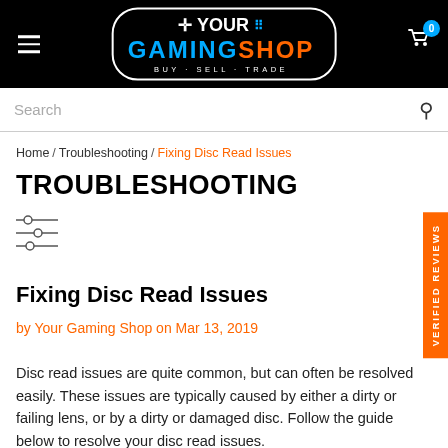YOUR GAMING SHOP — BUY · SELL · TRADE
Search
Home / Troubleshooting / Fixing Disc Read Issues
TROUBLESHOOTING
Fixing Disc Read Issues
by Your Gaming Shop on Mar 13, 2019
Disc read issues are quite common, but can often be resolved easily. These issues are typically caused by either a dirty or failing lens, or by a dirty or damaged disc. Follow the guide below to resolve your disc read issues.